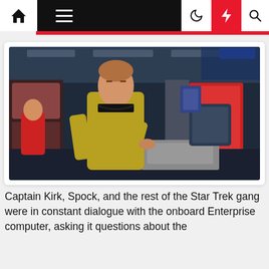Navigation bar with home, menu, moon, lightning, search icons
[Figure (photo): Captain Kirk (William Shatner) in gold Starfleet uniform standing on the bridge of the USS Enterprise, Star Trek original series]
Captain Kirk, Spock, and the rest of the Star Trek gang were in constant dialogue with the onboard Enterprise computer, asking it questions about the